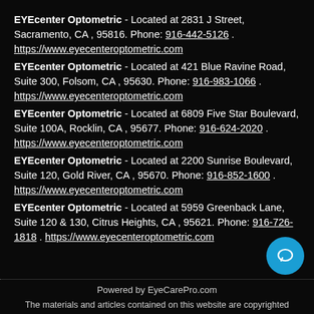EYEcenter Optometric - Located at 2831 J Street, Sacramento, CA , 95816. Phone: 916-442-5126 . https://www.eyecenteroptometric.com
EYEcenter Optometric - Located at 421 Blue Ravine Road, Suite 300, Folsom, CA , 95630. Phone: 916-983-1066 . https://www.eyecenteroptometric.com
EYEcenter Optometric - Located at 6809 Five Star Boulevard, Suite 100A, Rocklin, CA , 95677. Phone: 916-624-2020 . https://www.eyecenteroptometric.com
EYEcenter Optometric - Located at 2200 Sunrise Boulevard, Suite 120, Gold River, CA , 95670. Phone: 916-852-1600 . https://www.eyecenteroptometric.com
EYEcenter Optometric - Located at 5959 Greenback Lane, Suite 120 & 130, Citrus Heights, CA , 95621. Phone: 916-726-1818 . https://www.eyecenteroptometric.com
Powered by EyeCarePro.com
The materials and articles contained on this website are copyrighted